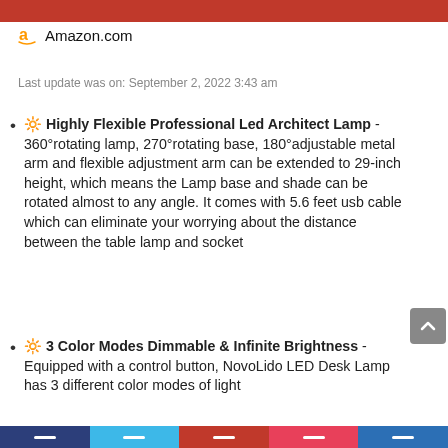Amazon.com
Last update was on: September 2, 2022 3:43 am
🔆 Highly Flexible Professional Led Architect Lamp - 360°rotating lamp, 270°rotating base, 180°adjustable metal arm and flexible adjustment arm can be extended to 29-inch height, which means the Lamp base and shade can be rotated almost to any angle. It comes with 5.6 feet usb cable which can eliminate your worrying about the distance between the table lamp and socket
🔆 3 Color Modes Dimmable & Infinite Brightness - Equipped with a control button, NovoLido LED Desk Lamp has 3 different color modes of light